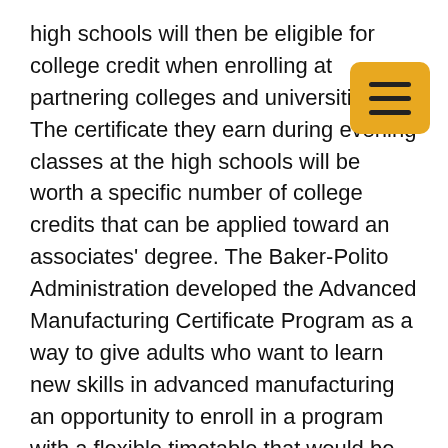high schools will then be eligible for college credit when enrolling at partnering colleges and universities. The certificate they earn during evening classes at the high schools will be worth a specific number of college credits that can be applied toward an associates' degree. The Baker-Polito Administration developed the Advanced Manufacturing Certificate Program as a way to give adults who want to learn new skills in advanced manufacturing an opportunity to enroll in a program with a flexible timetable that would be eligible for financial aid. Adult students will be eligible for federal Pell grants, state MassGrants, and other scholarships. A planning team, made up of vocational school, public and private higher education